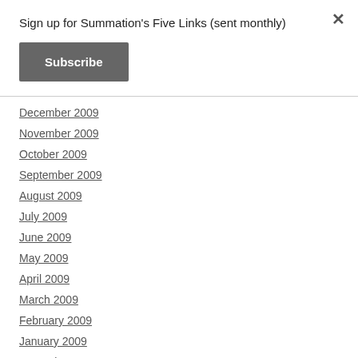Sign up for Summation's Five Links (sent monthly)
Subscribe
December 2009
November 2009
October 2009
September 2009
August 2009
July 2009
June 2009
May 2009
April 2009
March 2009
February 2009
January 2009
December 2008
November 2008